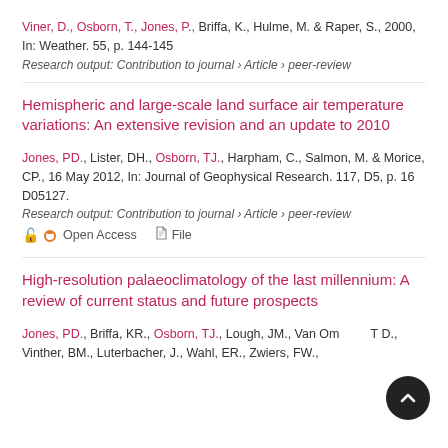Viner, D., Osborn, T., Jones, P., Briffa, K., Hulme, M. & Raper, S., 2000, In: Weather. 55, p. 144-145
Research output: Contribution to journal › Article › peer-review
Hemispheric and large-scale land surface air temperature variations: An extensive revision and an update to 2010
Jones, PD., Lister, DH., Osborn, TJ., Harpham, C., Salmon, M. & Morice, CP., 16 May 2012, In: Journal of Geophysical Research. 117, D5, p. 16 D05127.
Research output: Contribution to journal › Article › peer-review
Open Access   File
High-resolution palaeoclimatology of the last millennium: A review of current status and future prospects
Jones, PD., Briffa, KR., Osborn, TJ., Lough, JM., Van Ommen, TD., Vinther, BM., Luterbacher, J., Wahl, ER., Zwiers, FW.,